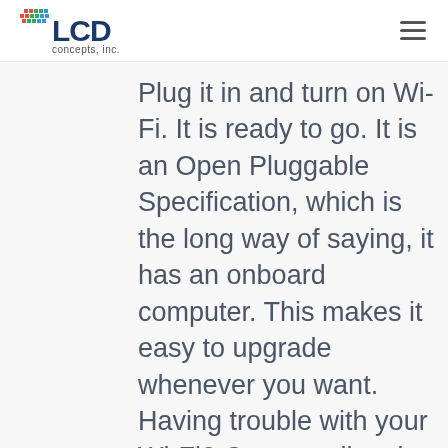LCD concepts, inc.
Plug it in and turn on Wi-Fi. It is ready to go. It is an Open Pluggable Specification, which is the long way of saying, it has an onboard computer. This makes it easy to upgrade whenever you want. Having trouble with your Wi-Fi? Connect directly with an HDMI or USB port to any laptop or device. Finally, for those large huddle